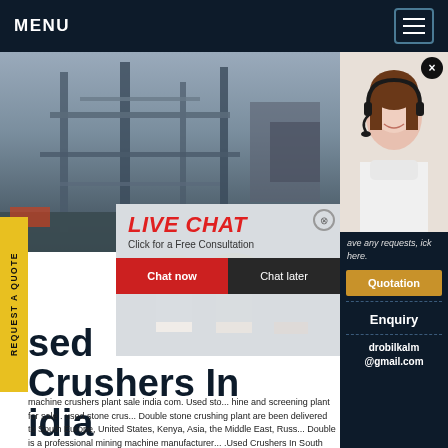MENU
[Figure (photo): Industrial mining/crushing machinery plant photo]
[Figure (photo): Customer service representative with headset smiling]
[Figure (photo): Workers in yellow hard hats at a facility]
REQUEST A QUOTE
LIVE CHAT
Click for a Free Consultation
Chat now | Chat later
have any requests, click here.
Quotation
Enquiry
drobilkalm@gmail.com
sed Crushers In India
machine crushers plant sale india com. Used stone crushing machine and screening plant for sale . used stone crus... Double stone crushing plant are been delivered to South Europe, United States, Kenya, Asia, the Middle East, Russ... Double is a professional mining machine manufacturer... .Used Crushers In South India,Used Hand Jaw Crusher For Sale South India. Jaw crusher in south india second hand jaw crusher for sale india